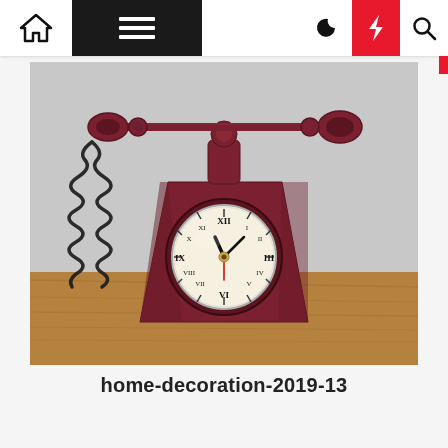Navigation bar with home, menu, moon, lightning, search icons
[Figure (photo): A vintage-style decorative telephone shaped clock in dark red/maroon metal, with a rotary phone handset on top, coiled cord on the left, and a round clock face with Roman numerals embedded in the trapezoidal base. The item sits on a wooden surface against a light gray background.]
home-decoration-2019-13